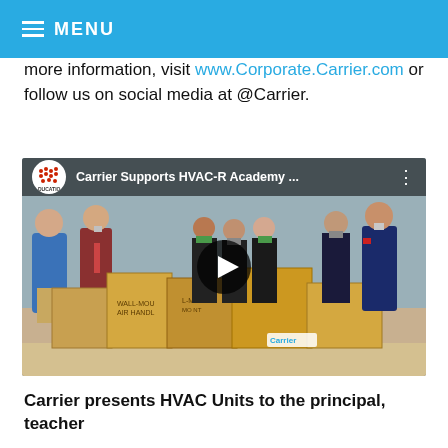MENU
more information, visit www.Corporate.Carrier.com or follow us on social media at @Carrier.
[Figure (screenshot): YouTube video thumbnail showing 'Carrier Supports HVAC-R Academy ...' with a group of people wearing masks standing behind large cardboard boxes of HVAC units, with a play button overlay.]
Carrier presents HVAC Units to the principal, teacher